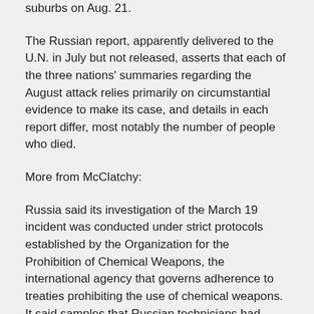suburbs on Aug. 21.
The Russian report, apparently delivered to the U.N. in July but not released, asserts that each of the three nations' summaries regarding the August attack relies primarily on circumstantial evidence to make its case, and details in each report differ, most notably the number of people who died.
More from McClatchy:
Russia said its investigation of the March 19 incident was conducted under strict protocols established by the Organization for the Prohibition of Chemical Weapons, the international agency that governs adherence to treaties prohibiting the use of chemical weapons. It said samples that Russian technicians had collected had been sent to OPCW-certified laboratories in Europe.
The Russian statement warned the United States and its allies not to conduct a military strike against Syria until the United Nations had completed a similarly detailed scientific study into the Aug. 21 attack. It warned that what it called the current “hysteria” about a possible military strike in the West was similar to the false claims